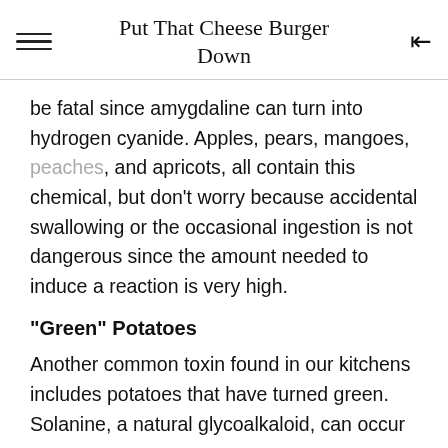Put That Cheese Burger Down
be fatal since amygdaline can turn into hydrogen cyanide. Apples, pears, mangoes, peaches, and apricots, all contain this chemical, but don't worry because accidental swallowing or the occasional ingestion is not dangerous since the amount needed to induce a reaction is very high.
"Green" Potatoes
Another common toxin found in our kitchens includes potatoes that have turned green. Solanine, a natural glycoalkaloid, can occur